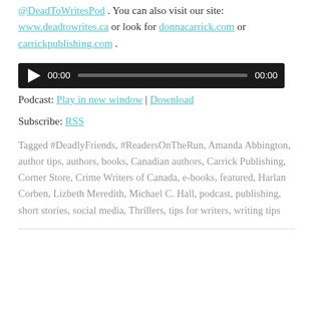@DeadToWritesPod . You can also visit our site: www.deadtowrites.ca or look for donnacarrick.com or carrickpublishing.com .
[Figure (other): Audio player widget with play button, time 00:00, progress bar, and duration 00:00 on dark background]
Podcast: Play in new window | Download
Subscribe: RSS
Tagged #DeadlyFriends, #ReadersOnTheRun, Amanda Abbington, author tips, authors, books, Canadian authors, Carrick Publishing, Corner Store, Crime Writers of Canada, e-books, featured, Harlan Corben, Lizbeth Meredith, Michael C. Hall, podcast, publishing, short stories, social media, Thrillers, tips for writers, writing tips